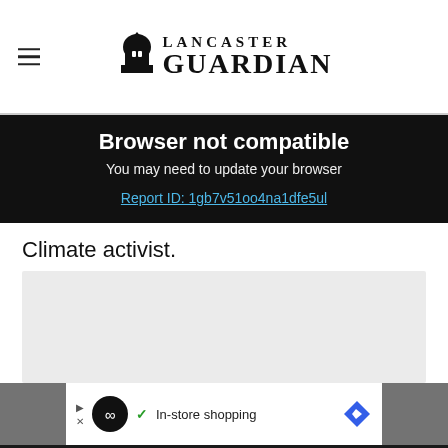Lancaster Guardian
Browser not compatible
You may need to update your browser
Report ID: 1gb7v51oo4na1dfe5ul
Climate activist.
[Figure (other): Grey image placeholder area]
[Figure (other): Advertisement banner: In-store shopping]
Get 70% fewer ads. Start your 2-month trial for just £2 per month
Subscribe Today